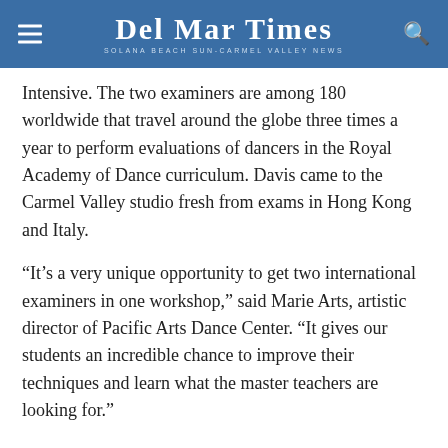Del Mar Times — Solana Beach Sun-Carmel Valley News
Intensive. The two examiners are among 180 worldwide that travel around the globe three times a year to perform evaluations of dancers in the Royal Academy of Dance curriculum. Davis came to the Carmel Valley studio fresh from exams in Hong Kong and Italy.
“It’s a very unique opportunity to get two international examiners in one workshop,” said Marie Arts, artistic director of Pacific Arts Dance Center. “It gives our students an incredible chance to improve their techniques and learn what the master teachers are looking for.”